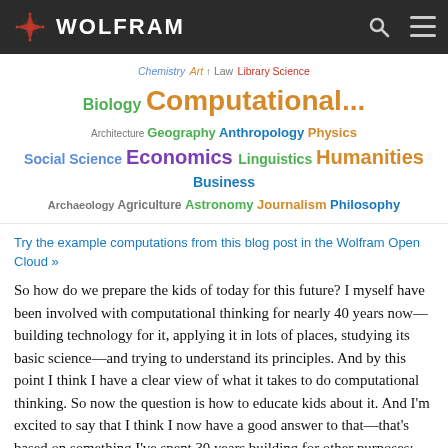WOLFRAM
[Figure (infographic): Word cloud of academic disciplines including Chemistry, Art, Law, Library Science, Biology, Computational..., Management, Architecture, Geography, Anthropology, Physics, Social Science, Medicine, Economics, Linguistics, Humanities, Business, Archaeology, Agriculture, Astronomy, Journalism, Philosophy]
Try the example computations from this blog post in the Wolfram Open Cloud »
So how do we prepare the kids of today for this future? I myself have been involved with computational thinking for nearly 40 years now—building technology for it, applying it in lots of places, studying its basic science—and trying to understand its principles. And by this point I think I have a clear view of what it takes to do computational thinking. So now the question is how to educate kids about it. And I'm excited to say that I think I now have a good answer to that—that's based on something I've spent 30 years building for other purposes: the Wolfram Language. There have been ways to teach the mechanics of low-level programming for a long time, but what's new and important is that with all the knowledge and automation that we've built into the Wolfram